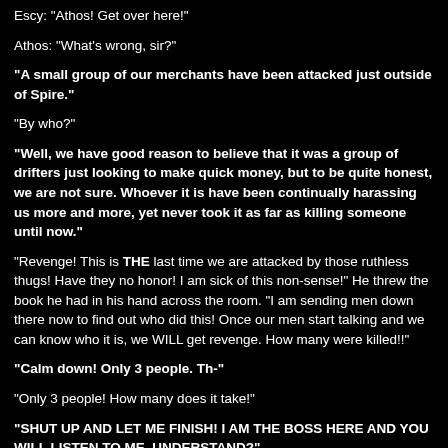Escy: "Athos! Get over here!"
Athos: "What's wrong, sir?"
"A small group of our merchants have been attacked just outside of Spire."
"By who?"
"Well, we have good reason to believe that it was a group of drifters just looking to make quick money, but to be quite honest, we are not sure. Whoever it is have been continually harassing us more and more, yet never took it as far as killing someone until now."
"Revenge! This is THE last time we are attacked by those ruthless thugs! Have they no honor! I am sick of this non-sense!" He threw the book he had in his hand across the room. "I am sending men down there now to find out who did this! Once our men start talking and we can know who it is, we WILL get revenge. How many were killed!!"
"Calm down! Only 3 people. Th-"
"Only 3 people! How many does it take!"
"SHUT UP AND LET ME FINISH! I AM THE BOSS HERE AND YOU WILL LISTEN TO ME, UNDERSTAND?"
"Yes." He replied in disgust.
"We will not attack, we will not kill yet. I am the ruler of this city for a